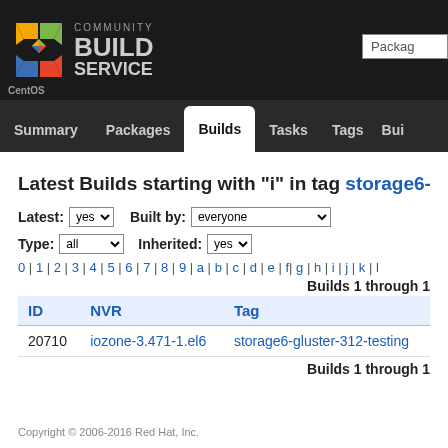CentOS Community Build Service
Latest Builds starting with "i" in tag storage6-gl
Latest: yes | Built by: everyone | Type: all | Inherited: yes
0 | 1 | 2 | 3 | 4 | 5 | 6 | 7 | 8 | 9 | a | b | c | d | e | f | g | h | i | j | k | l
Builds 1 through 1
| ID | NVR | Tag |
| --- | --- | --- |
| 20710 | iozone-3.471-1.el6 | storage6-gluster-312-testing |
Builds 1 through 1
Copyright © 2006-2016 Red Hat, Inc.